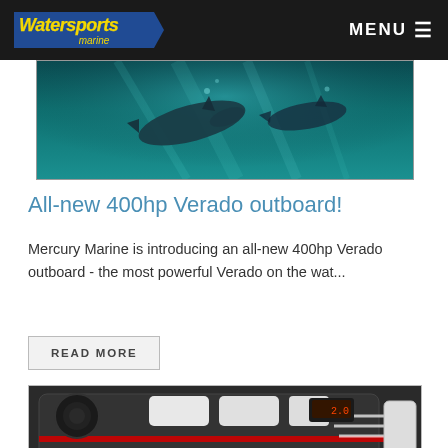Watersports Marine — MENU
[Figure (photo): Underwater photograph showing dolphins swimming beneath the surface with teal/blue water]
All-new 400hp Verado outboard!
Mercury Marine is introducing an all-new 400hp Verado outboard - the most powerful Verado on the wat...
READ MORE
[Figure (photo): Close-up top-down view of a Mercury 270 marine engine with dark casing, white accent pieces, red trim stripe, and various components visible]